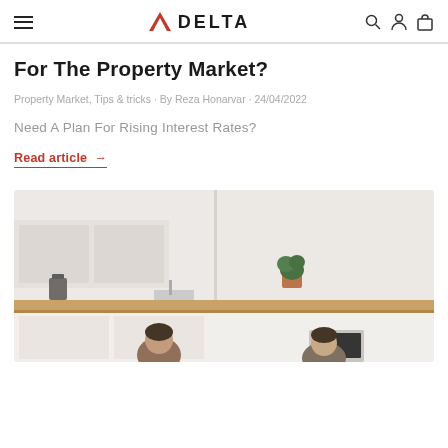DELTA (logo with navigation icons)
For The Property Market?
Property Market, Tips & tricks · By Reza Honarvar · 24/04/2022
Need A Plan For Rising Interest Rates?
Read article →
[Figure (photo): Two people sitting at a kitchen counter with a laptop, modern white kitchen with wooden countertop and a plant in the background]